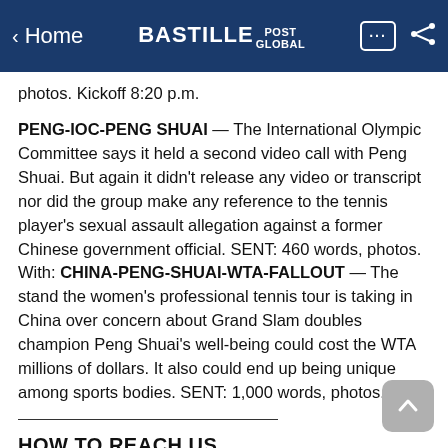< Home | BASTILLE POST GLOBAL
photos. Kickoff 8:20 p.m.
PENG-IOC-PENG SHUAI — The International Olympic Committee says it held a second video call with Peng Shuai. But again it didn't release any video or transcript nor did the group make any reference to the tennis player's sexual assault allegation against a former Chinese government official. SENT: 460 words, photos. With: CHINA-PENG-SHUAI-WTA-FALLOUT — The stand the women's professional tennis tour is taking in China over concern about Grand Slam doubles champion Peng Shuai's well-being could cost the WTA millions of dollars. It also could end up being unique among sports bodies. SENT: 1,000 words, photos.
HOW TO REACH US